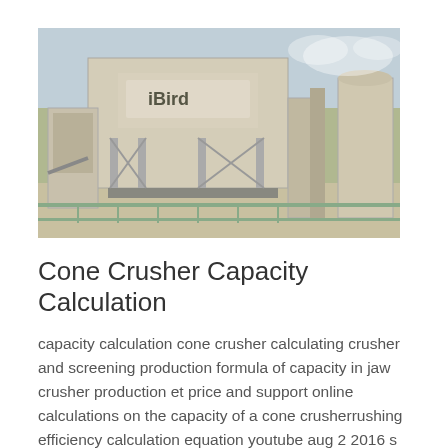[Figure (photo): Industrial cone crusher / screening plant facility with tall metal structure, silos, and conveyor systems against a cloudy sky.]
Cone Crusher Capacity Calculation
capacity calculation cone crusher calculating crusher and screening production formula of capacity in jaw crusher production et price and support online calculations on the capacity of a cone crusherrushing efficiency calculation equation youtube aug 2 2016 s the equation for calculating the efficiency of a jaw crusher is a for to ercentages...
Know More